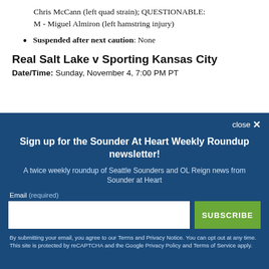Chris McCann (left quad strain); QUESTIONABLE: M - Miguel Almiron (left hamstring injury)
Suspended after next caution: None
Real Salt Lake v Sporting Kansas City
Date/Time: Sunday, November 4, 7:00 PM PT
Sign up for the Sounder At Heart Weekly Roundup newsletter!
A twice weekly roundup of Seattle Sounders and OL Reign news from Sounder at Heart
By submitting your email, you agree to our Terms and Privacy Notice. You can opt out at any time. This site is protected by reCAPTCHA and the Google Privacy Policy and Terms of Service apply.